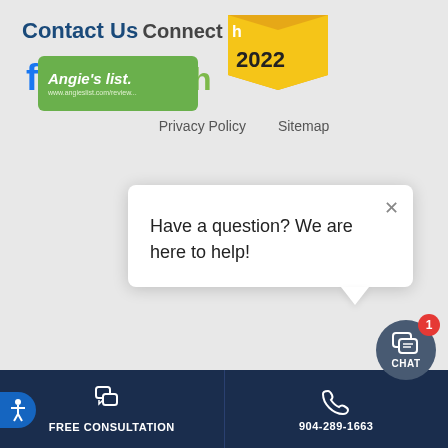Contact Us
Connect With Us
[Figure (infographic): Social media icons: Facebook (blue), Pinterest (red circle), Instagram (outline), Houzz (green)]
Privacy Policy   Sitemap
[Figure (illustration): Angie's List green badge with white italic text and website url]
[Figure (illustration): Houzz 2022 award badge with orange/yellow background]
[Figure (screenshot): Chat popup overlay with X close button and text: Have a question? We are here to help!]
[Figure (illustration): Dark circular chat button with CHAT label and speech bubble, red badge showing 1 notification]
FREE CONSULTATION
904-289-1663